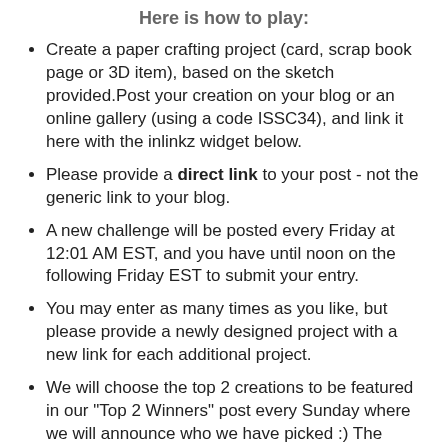Here is how to play:
Create a paper crafting project (card, scrap book page or 3D item), based on the sketch provided.Post your creation on your blog or an online gallery (using a code ISSC34), and link it here with the inlinkz widget below.
Please provide a direct link to your post - not the generic link to your blog.
A new challenge will be posted every Friday at 12:01 AM EST, and you have until noon on the following Friday EST to submit your entry.
You may enter as many times as you like, but please provide a newly designed project with a new link for each additional project.
We will choose the top 2 creations to be featured in our "Top 2 Winners" post every Sunday where we will announce who we have picked :) The winners will receive their very own iSpy Sketches blog badge!